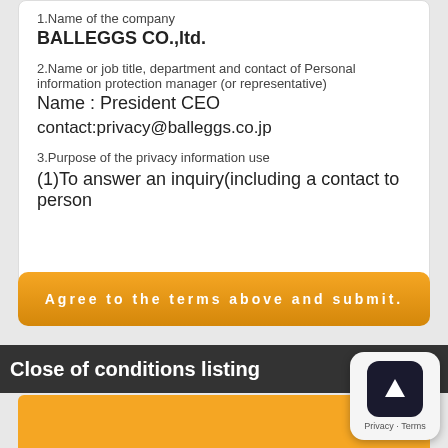1.Name of the company
BALLEGGS CO.,ltd.
2.Name or job title, department and contact of Personal information protection manager (or representative)
Name : President CEO
contact:privacy@balleggs.co.jp
3.Purpose of the privacy information use
(1)To answer an inquiry(including a contact to person
Agree to the terms above and submit.
Close of conditions listing
[Figure (screenshot): App icon overlay with arrow symbol and Privacy - Terms text]